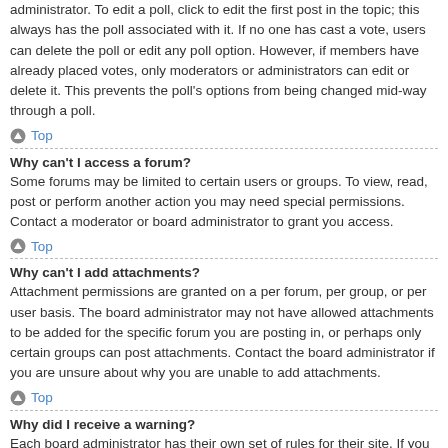administrator. To edit a poll, click to edit the first post in the topic; this always has the poll associated with it. If no one has cast a vote, users can delete the poll or edit any poll option. However, if members have already placed votes, only moderators or administrators can edit or delete it. This prevents the poll's options from being changed mid-way through a poll.
Top
Why can't I access a forum?
Some forums may be limited to certain users or groups. To view, read, post or perform another action you may need special permissions. Contact a moderator or board administrator to grant you access.
Top
Why can't I add attachments?
Attachment permissions are granted on a per forum, per group, or per user basis. The board administrator may not have allowed attachments to be added for the specific forum you are posting in, or perhaps only certain groups can post attachments. Contact the board administrator if you are unsure about why you are unable to add attachments.
Top
Why did I receive a warning?
Each board administrator has their own set of rules for their site. If you have